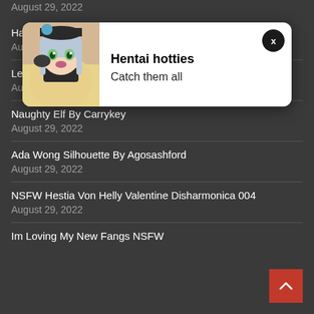August 29, 2022
Hana Bunny
August 29, 2022
Lewd Cosplay Claire Redfield Carrykey
August 29, 2022
Naughty Elf By Carrykey
August 29, 2022
Ada Wong Silhouette By Agosashford
August 29, 2022
NSFW Hestia Von Helly Valentine Disharmonica 004
August 29, 2022
Im Loving My New Fangs NSFW
[Figure (illustration): Popup notification with anime girl character image on left, bold text 'Hentai hotties' and subtitle 'Catch them all' on right, with an X close button in top-right corner]